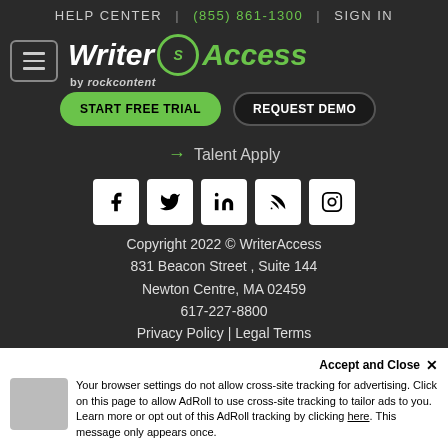HELP CENTER | (855) 861-1300 | SIGN IN
[Figure (logo): WriterAccess by rockcontent logo with green circular icon, green and white wordmark]
START FREE TRIAL | REQUEST DEMO
→ Talent Apply
[Figure (other): Social media icons: Facebook, Twitter, LinkedIn, RSS, Instagram]
Copyright 2022 © WriterAccess
831 Beacon Street , Suite 144
Newton Centre, MA 02459
617-227-8800
Privacy Policy | Legal Terms
Accept and Close ✕
Your browser settings do not allow cross-site tracking for advertising. Click on this page to allow AdRoll to use cross-site tracking to tailor ads to you. Learn more or opt out of this AdRoll tracking by clicking here. This message only appears once.